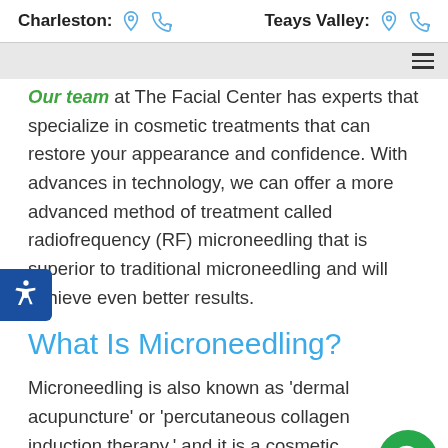Charleston:   Teays Valley:
Our team at The Facial Center has experts that specialize in cosmetic treatments that can restore your appearance and confidence. With advances in technology, we can offer a more advanced method of treatment called radiofrequency (RF) microneedling that is superior to traditional microneedling and will achieve even better results.
What Is Microneedling?
Microneedling is also known as 'dermal acupuncture' or 'percutaneous collagen induction therapy,' and it is a cosmetic